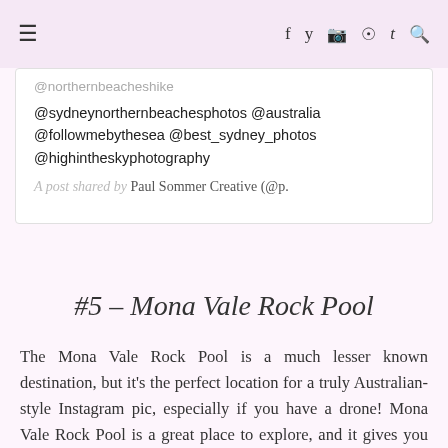≡ f y ☷ ⊕ t 🔍
@northernbeacheshike @sydneynorthernbeachesphotos @australia @followmebythesea @best_sydney_photos @highintheskyphotography
A post shared by Paul Sommer Creative (@p.
#5 – Mona Vale Rock Pool
The Mona Vale Rock Pool is a much lesser known destination, but it's the perfect location for a truly Australian-style Instagram pic, especially if you have a drone! Mona Vale Rock Pool is a great place to explore, and it gives you the chance to take a dip into the refreshing water of the harbour.